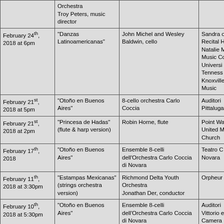| Date | Piece | Performer | Venue |
| --- | --- | --- | --- |
|  | Orchestra
Troy Peters, music director |  |  |
| February 24th, 2018 at 6pm | "Danzas Latinoamericanas" | John Michel and Wesley Baldwin, cello | Sandra ...
Recital H...
Natalie...
Music C...
Universi...
Tenness...
Knoxville...
Music |
| February 21st, 2018 at 5pm | "Otoño en Buenos Aires" | 8-cello orchestra Carlo Coccia | Auditori...
Pittaluga... |
| February 21st, 2018 at 2pm | "Princesa de Hadas" (flute & harp version) | Robin Horne, flute | Point Wa...
United M...
Church |
| February 17th, 2018 | "Otoño en Buenos Aires" | Ensemble 8-celli dell'Orchestra Carlo Coccia di Novara | Teatro C...
Novara |
| February 11th, 2018 at 3:30pm | "Estampas Mexicanas" (strings orchestra version) | Richmond Delta Youth Orchestra
Jonathan Der, conductor | Orpheur... |
| February 10th, 2018 at 5:30pm | "Otoño en Buenos Aires" | Ensemble 8-celli dell'Orchestra Carlo Coccia di Novara | Auditori...
Vittorio...
Camera...
di Milano... |
| February 5th, 2018 at 7:30pm | "Sefika's Menuetto"
"Otoño en Buenos Aires" | Sefika Kutluer, flute
Angora Symphony Orchestra | Yenimah...
Hikmet H... |
| 2017 |  |  |  |